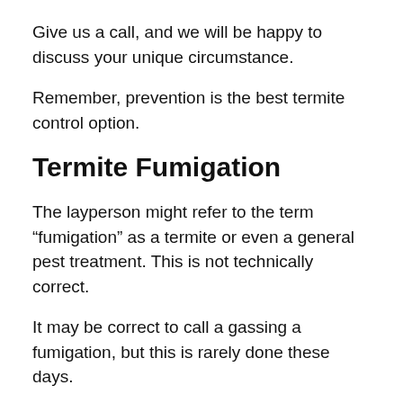Give us a call, and we will be happy to discuss your unique circumstance.
Remember, prevention is the best termite control option.
Termite Fumigation
The layperson might refer to the term “fumigation” as a termite or even a general pest treatment. This is not technically correct.
It may be correct to call a gassing a fumigation, but this is rarely done these days.
What might you do if your property is already at the